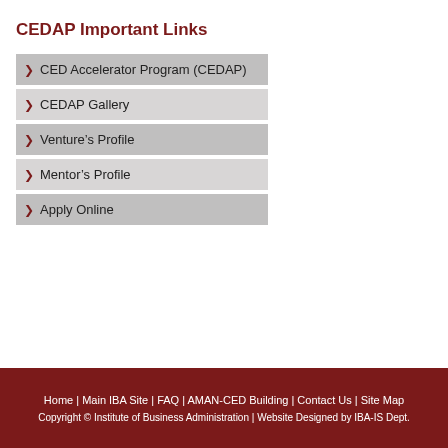CEDAP Important Links
CED Accelerator Program (CEDAP)
CEDAP Gallery
Venture's Profile
Mentor's Profile
Apply Online
Home | Main IBA Site | FAQ | AMAN-CED Building | Contact Us | Site Map
Copyright © Institute of Business Administration | Website Designed by IBA-IS Dept.